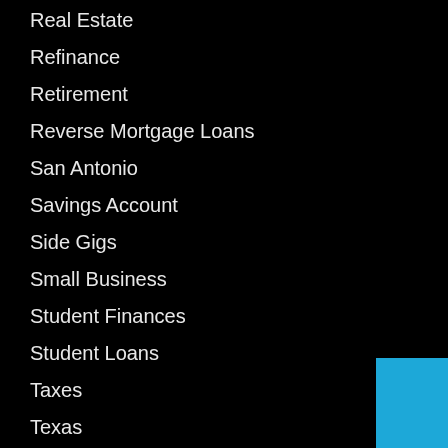Real Estate
Refinance
Retirement
Reverse Mortgage Loans
San Antonio
Savings Account
Side Gigs
Small Business
Student Finances
Student Loans
Taxes
Texas
Texas City
Travel
Unemployment
VA Loans